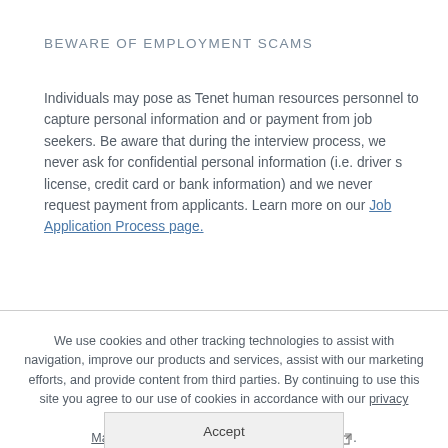BEWARE OF EMPLOYMENT SCAMS
Individuals may pose as Tenet human resources personnel to capture personal information and or payment from job seekers. Be aware that during the interview process, we never ask for confidential personal information (i.e. drivers license, credit card or bank information) and we never request payment from applicants. Learn more on our Job Application Process page.
We use cookies and other tracking technologies to assist with navigation, improve our products and services, assist with our marketing efforts, and provide content from third parties. By continuing to use this site you agree to our use of cookies in accordance with our privacy policy. Manage third-party cookie preferences here.
Accept